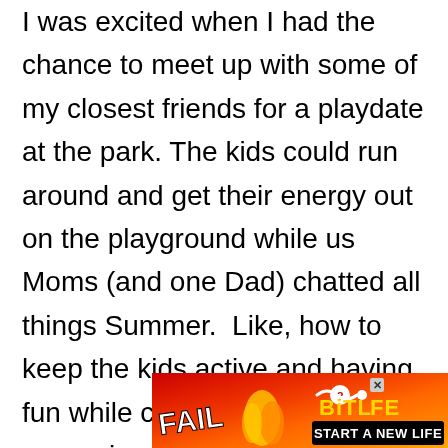I was excited when I had the chance to meet up with some of my closest friends for a playdate at the park. The kids could run around and get their energy out on the playground while us Moms (and one Dad) chatted all things Summer.  Like, how to keep the kids active and having fun while creating a summer of memories with the whole family.
[Figure (other): BitLife mobile game advertisement banner with red/orange flame background, 'FAIL' text, cartoon character, BitLife logo in yellow, and 'START A NEW LIFE' button]